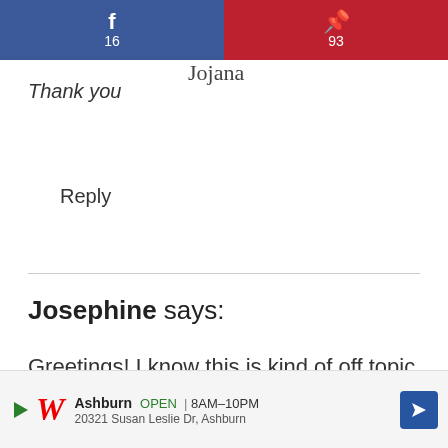[Figure (infographic): Social sharing bar with Facebook (f, 16) on left blue background and Pinterest (P, 93) on right red background]
Thank you [signature]
Reply
Josephine says:
Greetings! I know this is kind of off topic but I was wondering which blog platform are you using for this website? I'm getting sick and tired of WordPress because I've had issues with hack... r
[Figure (infographic): Walgreens ad banner: Ashburn OPEN 8AM-10PM, 20321 Susan Leslie Dr, Ashburn with navigation arrow icon]